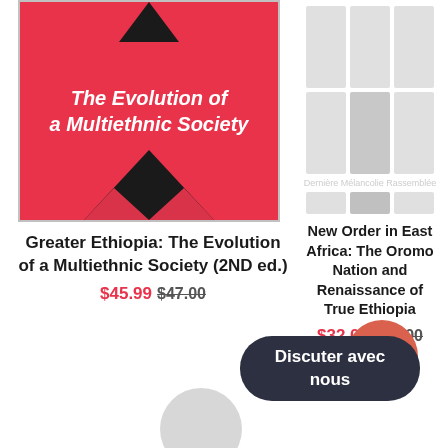[Figure (illustration): Book cover for 'Greater Ethiopia: The Evolution of a Multiethnic Society' — red background with white italic title text and black diamond/triangle decorative shapes]
Greater Ethiopia: The Evolution of a Multiethnic Society (2ND ed.)
$45.99 $47.00
[Figure (illustration): Blurred/placeholder book cover for 'New Order in East Africa: The Oromo Nation and Renaissance of True Ethiopia' — grey placeholder image grid]
New Order in East Africa: The Oromo Nation and Renaissance of True Ethiopia
$32.00 $35.00
En solde
Discuter avec nous